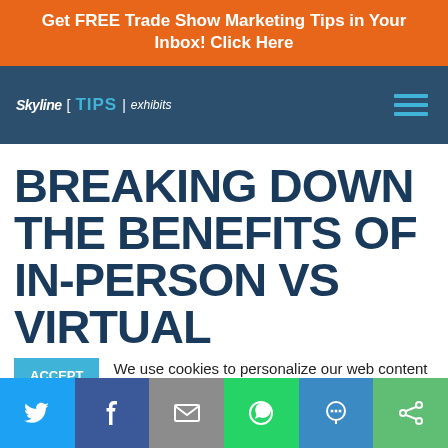Get FREE Trade Show Marketing Tips in Your Inbox! Click Here
[Figure (logo): Skyline E TIPS exhibits logo with hamburger menu icon on dark blue navigation bar]
BREAKING DOWN THE BENEFITS OF IN-PERSON VS VIRTUAL
ACCEPT  We use cookies to personalize our web content and analyze our traffic. We share this information with Skyline dealers who may combine it with information you provided them
[Figure (infographic): Social share bar with Twitter, Facebook, Email, WhatsApp, SMS, and share icons]